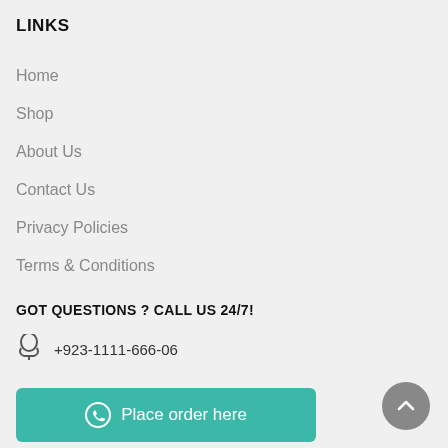LINKS
Home
Shop
About Us
Contact Us
Privacy Policies
Terms & Conditions
GOT QUESTIONS ? CALL US 24/7!
+923-1111-666-06
Place order here